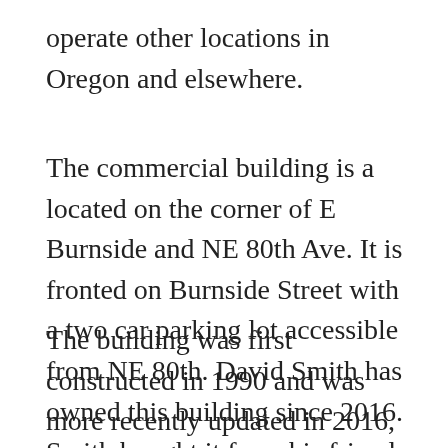operate other locations in Oregon and elsewhere.
The commercial building is a located on the corner of E Burnside and NE 80th Ave. It is fronted on Burnside Street with a two car parking lot accessible from NE 80th. David Smith has owned this building since 2016. Smith bought it from his friend, who operated Watson Plumbing Company at this location.
The building was first constructed in 1990 and was more recently updated in 2016, just before Sunlight Solar Energy occupied the space. The building offers 3,000 sq. ft. of heated Warehouse space. It has two bathrooms and